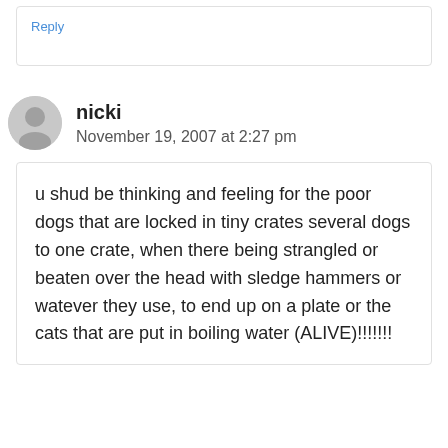Reply
nicki
November 19, 2007 at 2:27 pm
u shud be thinking and feeling for the poor dogs that are locked in tiny crates several dogs to one crate, when there being strangled or beaten over the head with sledge hammers or watever they use, to end up on a plate or the cats that are put in boiling water (ALIVE)!!!!!!!